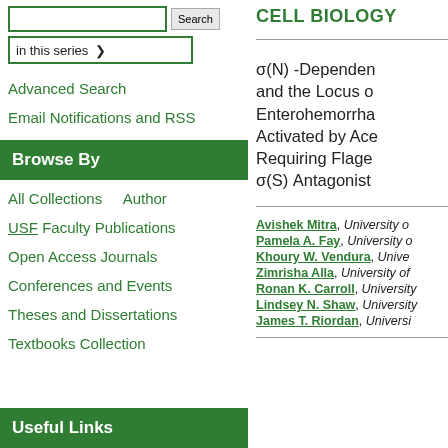in this series (dropdown)
Advanced Search
Email Notifications and RSS
Browse By
All Collections
Author
USF Faculty Publications
Open Access Journals
Conferences and Events
Theses and Dissertations
Textbooks Collection
Useful Links
CELL BIOLOGY
σ(N) -Dependent and the Locus of Enterohemorrhagic Activated by Acetyl Requiring Flagellar σ(S) Antagonist
Avishek Mitra, University o...
Pamela A. Fay, University o...
Khoury W. Vendura, Unive...
Zimrisha Alla, University of...
Ronan K. Carroll, University...
Lindsey N. Shaw, University...
James T. Riordan, Universi...